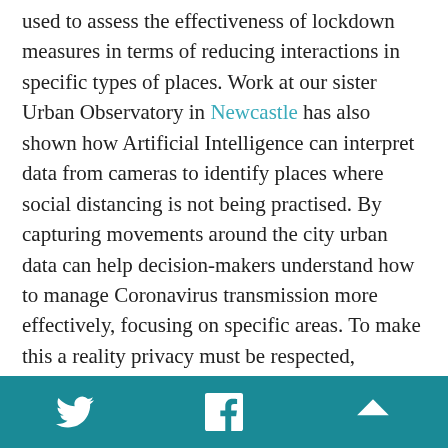used to assess the effectiveness of lockdown measures in terms of reducing interactions in specific types of places. Work at our sister Urban Observatory in Newcastle has also shown how Artificial Intelligence can interpret data from cameras to identify places where social distancing is not being practised. By capturing movements around the city urban data can help decision-makers understand how to manage Coronavirus transmission more effectively, focusing on specific areas. To make this a reality privacy must be respected, corporately owned data must be opened up, and resource must be directed to synthesise the mountain of existing data into intelligence that can be used by governments. GDPR covers the first of these challenges. Coronavirus and public opinion are shifting the second. The real challenge is the third one, and it is surely where universities have a critical role to play.
Twitter | Facebook | Up